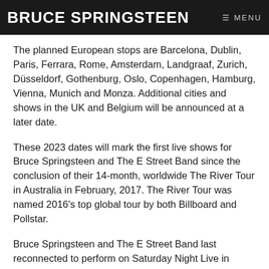BRUCE SPRINGSTEEN
The planned European stops are Barcelona, Dublin, Paris, Ferrara, Rome, Amsterdam, Landgraaf, Zurich, Düsseldorf, Gothenburg, Oslo, Copenhagen, Hamburg, Vienna, Munich and Monza. Additional cities and shows in the UK and Belgium will be announced at a later date.
These 2023 dates will mark the first live shows for Bruce Springsteen and The E Street Band since the conclusion of their 14-month, worldwide The River Tour in Australia in February, 2017. The River Tour was named 2016's top global tour by both Billboard and Pollstar.
Bruce Springsteen and The E Street Band last reconnected to perform on Saturday Night Live in December 2020, where they launched live versions of two songs from their most recent studio album 'Letter...